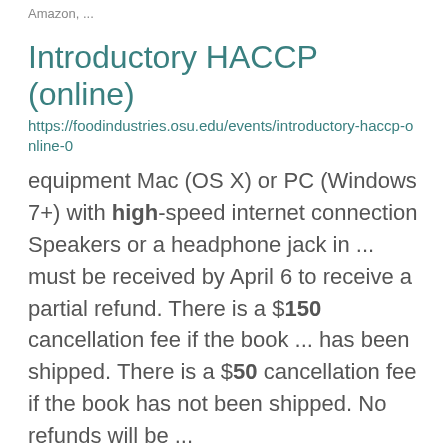Amazon, ...
Introductory HACCP (online)
https://foodindustries.osu.edu/events/introductory-haccp-online-0
equipment Mac (OS X) or PC (Windows 7+) with high-speed internet connection Speakers or a headphone jack in ... must be received by April 6 to receive a partial refund. There is a $150 cancellation fee if the book ... has been shipped. There is a $50 cancellation fee if the book has not been shipped. No refunds will be ...
PPGSA
https://...